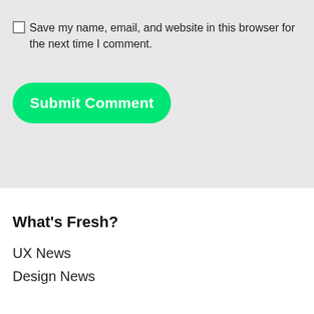Save my name, email, and website in this browser for the next time I comment.
Submit Comment
What's Fresh?
UX News
Design News